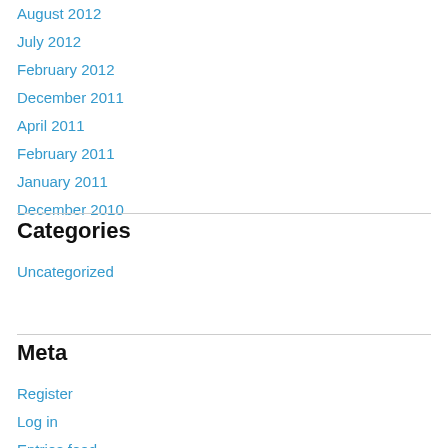August 2012
July 2012
February 2012
December 2011
April 2011
February 2011
January 2011
December 2010
Categories
Uncategorized
Meta
Register
Log in
Entries feed
Comments feed